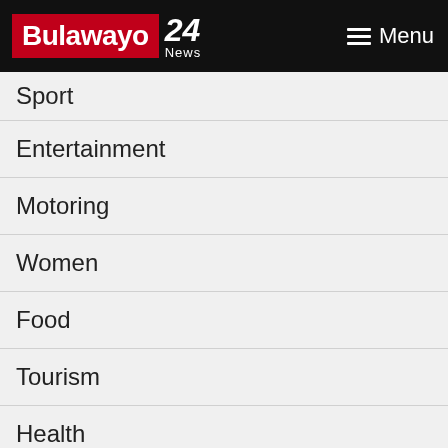Bulawayo 24 News — Menu
Sport
Entertainment
Motoring
Women
Food
Tourism
Health
Documentary
Viral
Other
Bulawayo24.com uses cookies to ensure you get the best experience on our website
Got it!